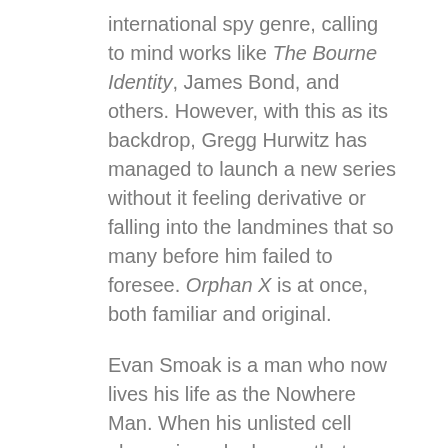international spy genre, calling to mind works like The Bourne Identity, James Bond, and others. However, with this as its backdrop, Gregg Hurwitz has managed to launch a new series without it feeling derivative or falling into the landmines that so many before him failed to foresee. Orphan X is at once, both familiar and original.
Evan Smoak is a man who now lives his life as the Nowhere Man. When his unlisted cell phone rings, he knows that someone is being wronged in some way and he must act to stop this injustice. Taking on one assignment at a time, when he is successful in helping out a needy individual, that person is instructed to pass the phone number on to only one other troubled citizen. In this way, Evan is able to stay under the radar and out of the sight lines of the government organization hunting him down.
When his latest assignment does not go as planned